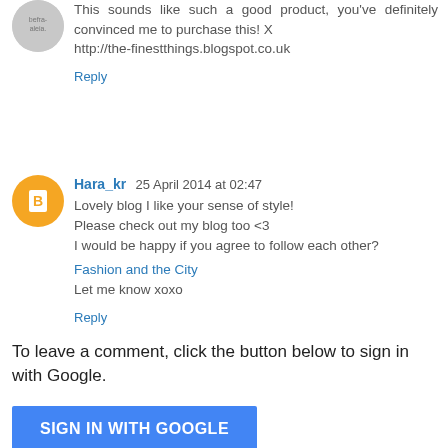This sounds like such a good product, you've definitely convinced me to purchase this! X
http://the-finestthings.blogspot.co.uk
Reply
Hara_kr  25 April 2014 at 02:47
Lovely blog I like your sense of style!
Please check out my blog too <3
I would be happy if you agree to follow each other?
Fashion and the City
Let me know xoxo
Reply
To leave a comment, click the button below to sign in with Google.
SIGN IN WITH GOOGLE